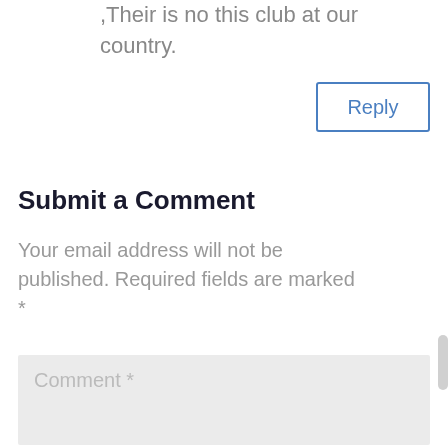,Their is no this club at our country.
Reply
Submit a Comment
Your email address will not be published. Required fields are marked *
Comment *